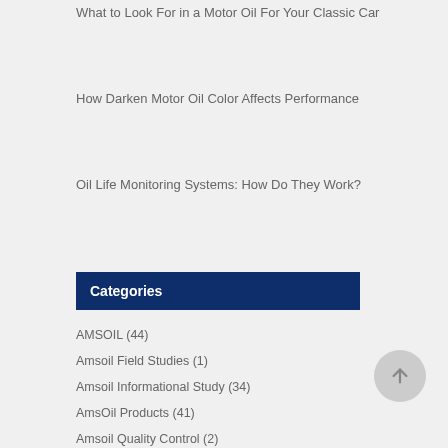What to Look For in a Motor Oil For Your Classic Car
How Darken Motor Oil Color Affects Performance
Oil Life Monitoring Systems: How Do They Work?
Categories
AMSOIL (44)
Amsoil Field Studies (1)
Amsoil Informational Study (34)
AmsOil Products (41)
Amsoil Quality Control (2)